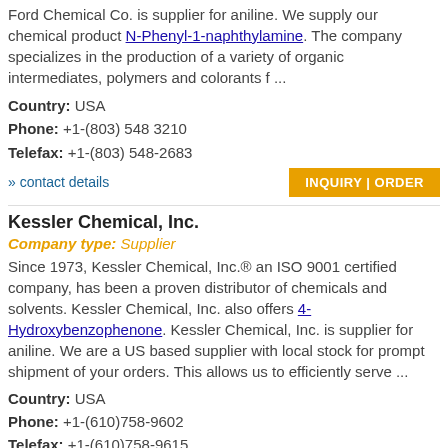Ford Chemical Co. is supplier for aniline. We supply our chemical product N-Phenyl-1-naphthylamine. The company specializes in the production of a variety of organic intermediates, polymers and colorants f ...
Country: USA
Phone: +1-(803) 548 3210
Telefax: +1-(803) 548-2683
» contact details
INQUIRY | ORDER
Kessler Chemical, Inc.
Company type: Supplier
Since 1973, Kessler Chemical, Inc.® an ISO 9001 certified company, has been a proven distributor of chemicals and solvents. Kessler Chemical, Inc. also offers 4-Hydroxybenzophenone. Kessler Chemical, Inc. is supplier for aniline. We are a US based supplier with local stock for prompt shipment of your orders. This allows us to efficiently serve ...
Country: USA
Phone: +1-(610)758-9602
Telefax: +1-(610)758-9615
» contact details
INQUIRY | ORDER
Cangzhou Goldlion Chemicals Co., Ltd.
Company type: Producer